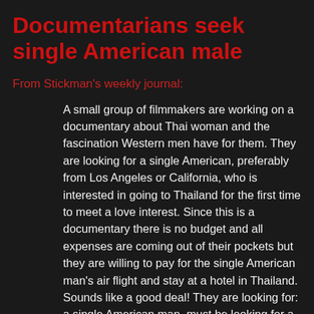Documentarians seek single American male
From Stickman's weekly journal:
A small group of filmmakers are working on a documentary about Thai woman and the fascination Western men have for them. They are looking for a single American, preferably from Los Angeles or California, who is interested in going to Thailand for the first time to meet a love interest. Since this is a documentary there is no budget and all expenses are coming out of their pockets but they are willing to pay for the single American man's air flight and stay at a hotel in Thailand. Sounds like a good deal! They are looking for: a single American man, must be looking for a love interest, must be interested in Thai woman, must be willing to be filmed the entire time - good times and bad, from start to finish. He will have to pay for his own food and